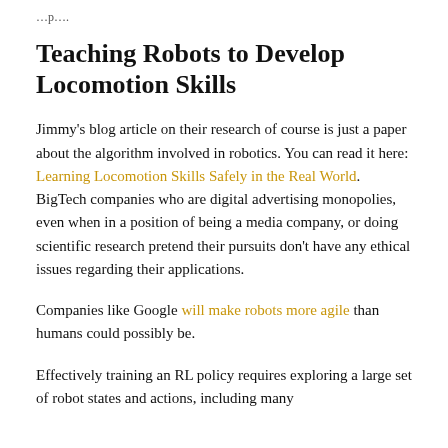…p….
Teaching Robots to Develop Locomotion Skills
Jimmy's blog article on their research of course is just a paper about the algorithm involved in robotics. You can read it here: Learning Locomotion Skills Safely in the Real World. BigTech companies who are digital advertising monopolies, even when in a position of being a media company, or doing scientific research pretend their pursuits don't have any ethical issues regarding their applications.
Companies like Google will make robots more agile than humans could possibly be.
Effectively training an RL policy requires exploring a large set of robot states and actions, including many